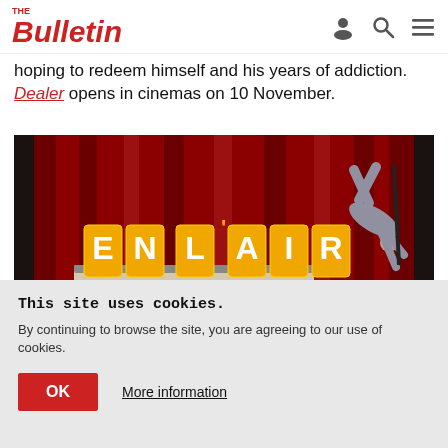The Bulletin
hoping to redeem himself and his years of addiction. Dealer opens in cinemas on 10 November.
[Figure (photo): Aerial acrobat performing in front of large illuminated 'EN L'AIR' letter sign on a stage with red curtain backdrop]
This site uses cookies. By continuing to browse the site, you are agreeing to our use of cookies.
OK  More information